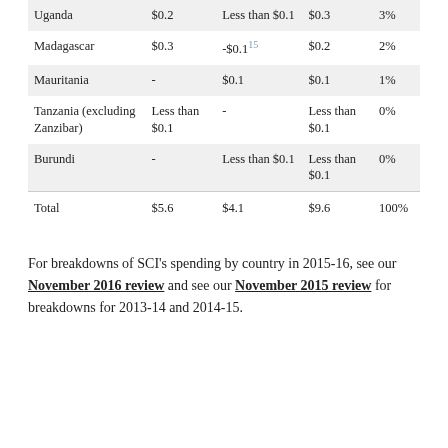| Uganda | $0.2 | Less than $0.1 | $0.3 | 3% |
| Madagascar | $0.3 | -$0.1¹⁵ | $0.2 | 2% |
| Mauritania | - | $0.1 | $0.1 | 1% |
| Tanzania (excluding Zanzibar) | Less than $0.1 | - | Less than $0.1 | 0% |
| Burundi | - | Less than $0.1 | Less than $0.1 | 0% |
| Total | $5.6 | $4.1 | $9.6 | 100% |
For breakdowns of SCI's spending by country in 2015-16, see our November 2016 review and see our November 2015 review for breakdowns for 2013-14 and 2014-15.